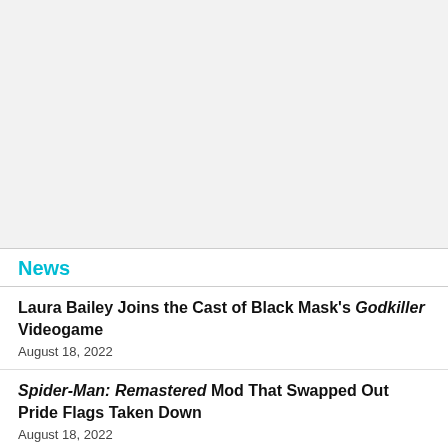[Figure (other): Advertisement or placeholder image area — light gray background]
News
Laura Bailey Joins the Cast of Black Mask's Godkiller Videogame
August 18, 2022
Spider-Man: Remastered Mod That Swapped Out Pride Flags Taken Down
August 18, 2022